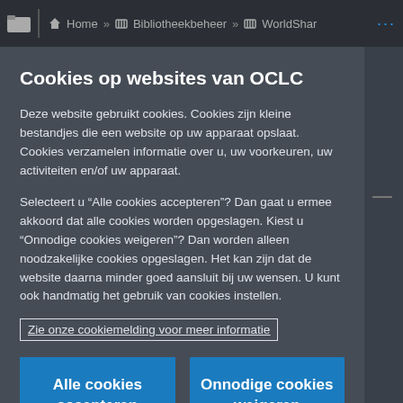Home » Bibliotheekbeheer » WorldShar ...
Cookies op websites van OCLC
Deze website gebruikt cookies. Cookies zijn kleine bestandjes die een website op uw apparaat opslaat. Cookies verzamelen informatie over u, uw voorkeuren, uw activiteiten en/of uw apparaat.
Selecteert u “Alle cookies accepteren”? Dan gaat u ermee akkoord dat alle cookies worden opgeslagen. Kiest u “Onnodige cookies weigeren”? Dan worden alleen noodzakelijke cookies opgeslagen. Het kan zijn dat de website daarna minder goed aansluit bij uw wensen. U kunt ook handmatig het gebruik van cookies instellen.
Zie onze cookiemelding voor meer informatie
Alle cookies accepteren
Onnodige cookies weigeren
Cookie-instellingen aanpassen